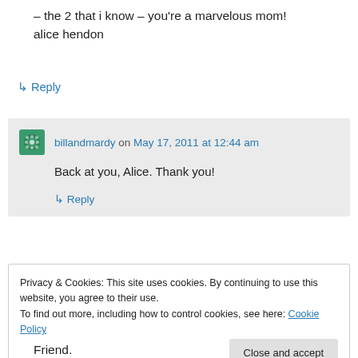– the 2 that i know – you're a marvelous mom!
alice hendon
↳ Reply
billandmardy on May 17, 2011 at 12:44 am
Back at you, Alice. Thank you!
↳ Reply
Privacy & Cookies: This site uses cookies. By continuing to use this website, you agree to their use.
To find out more, including how to control cookies, see here: Cookie Policy
Close and accept
Friend.